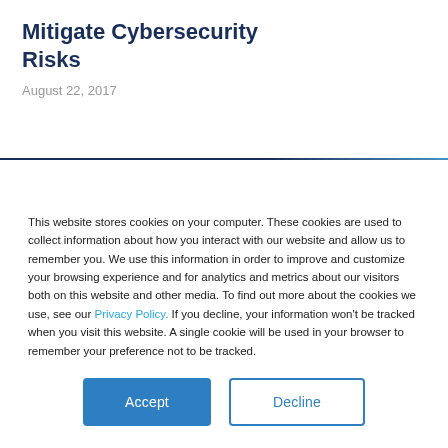Mitigate Cybersecurity Risks
August 22, 2017
This website stores cookies on your computer. These cookies are used to collect information about how you interact with our website and allow us to remember you. We use this information in order to improve and customize your browsing experience and for analytics and metrics about our visitors both on this website and other media. To find out more about the cookies we use, see our Privacy Policy. If you decline, your information won't be tracked when you visit this website. A single cookie will be used in your browser to remember your preference not to be tracked.
Accept | Decline